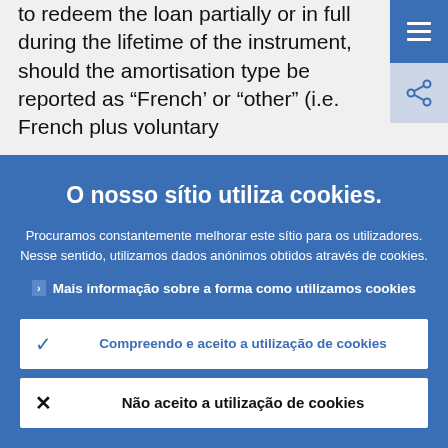to redeem the loan partially or in full during the lifetime of the instrument, should the amortisation type be reported as “French’ or “other” (i.e. French plus voluntary
O nosso sítio utiliza cookies.
Procuramos constantemente melhorar este sítio para os utilizadores. Nesse sentido, utilizamos dados anónimos obtidos através de cookies.
Mais informação sobre a forma como utilizamos cookies
Compreendo e aceito a utilização de cookies
Não aceito a utilização de cookies